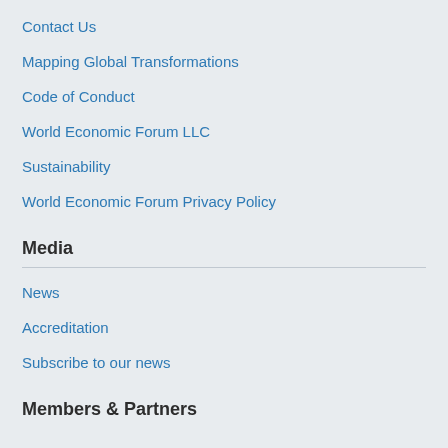Contact Us
Mapping Global Transformations
Code of Conduct
World Economic Forum LLC
Sustainability
World Economic Forum Privacy Policy
Media
News
Accreditation
Subscribe to our news
Members & Partners